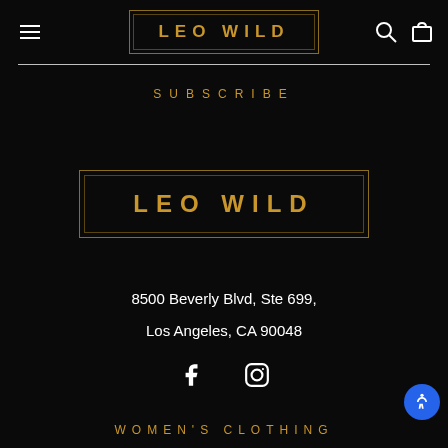LEO WILD
SUBSCRIBE
[Figure (logo): LEO WILD logo in gold with decorative border, centered on dark background]
8500 Beverly Blvd, Ste 699,
Los Angeles, CA 90048
[Figure (other): Facebook and Instagram social media icons]
WOMEN'S CLOTHING